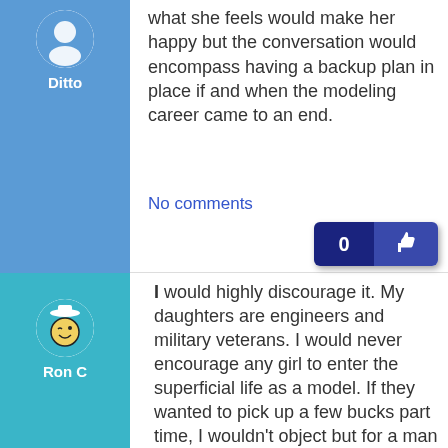[Figure (illustration): Avatar for user Ditto with blue background]
what she feels would make her happy but the conversation would encompass having a backup plan in place if and when the modeling career came to an end.
No comments
[Figure (illustration): Avatar for user Ron C with teal background showing a smiley face cartoon]
I would highly discourage it. My daughters are engineers and military veterans. I would never encourage any girl to enter the superficial life as a model. If they wanted to pick up a few bucks part time, I wouldn't object but for a man or woman to make their life...